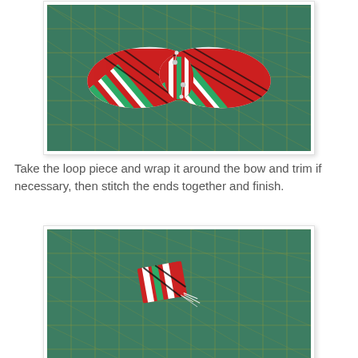[Figure (photo): A red, white, and green candy-cane striped bow tie pinned together on a green cutting mat with a yellow grid]
Take the loop piece and wrap it around the bow and trim if necessary, then stitch the ends together and finish.
[Figure (photo): A small folded rectangular piece of red, white, and green striped fabric with loose white threads, sitting on a green cutting mat with a yellow grid]